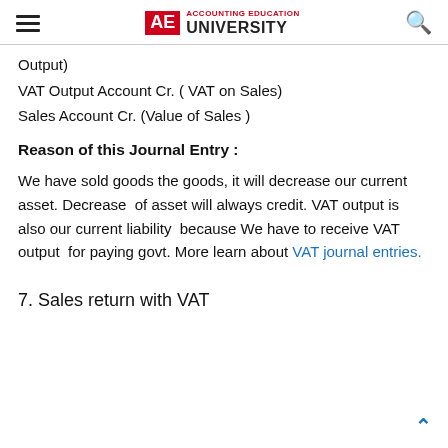AE ACCOUNTING EDUCATION UNIVERSITY
Output)
VAT Output Account Cr. ( VAT on Sales)
Sales Account Cr. (Value of Sales )
Reason of this Journal Entry :
We have sold goods the goods, it will decrease our current asset. Decrease  of asset will always credit. VAT output is also our current liability  because We have to receive VAT output  for paying govt. More learn about VAT journal entries.
7. Sales return with VAT